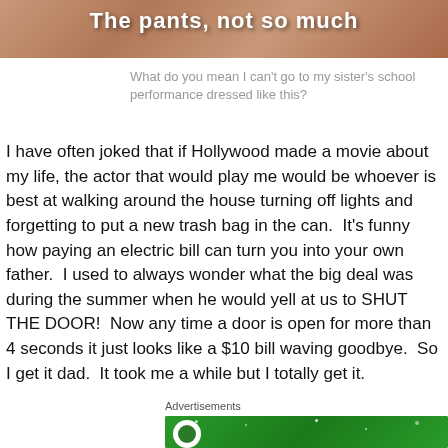[Figure (photo): Photo showing text overlay 'The pants, not so much' on a skin-toned background]
What do you mean I can't go to my sister's school performance dressed like this?
I have often joked that if Hollywood made a movie about my life, the actor that would play me would be whoever is best at walking around the house turning off lights and forgetting to put a new trash bag in the can.  It's funny how paying an electric bill can turn you into your own father.  I used to always wonder what the big deal was during the summer when he would yell at us to SHUT THE DOOR!  Now any time a door is open for more than 4 seconds it just looks like a $10 bill waving goodbye.  So I get it dad.  It took me a while but I totally get it.
Advertisements
[Figure (screenshot): Green advertisement banner with white circular logo and sparkles/dots design]